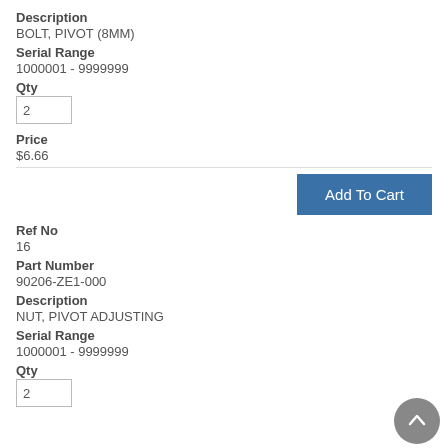Description
BOLT, PIVOT (8MM)
Serial Range
1000001 - 9999999
Qty
2
Price
$6.66
[Figure (other): Add To Cart button]
Ref No
16
Part Number
90206-ZE1-000
Description
NUT, PIVOT ADJUSTING
Serial Range
1000001 - 9999999
Qty
2